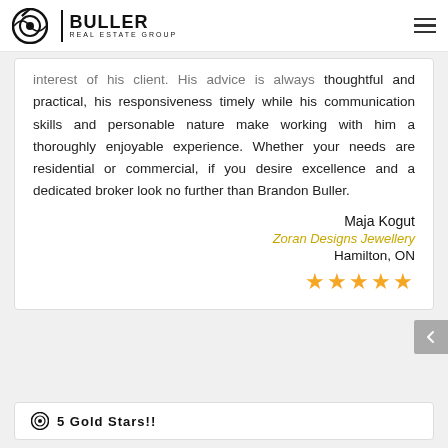Buller Real Estate Group
interest of his client. His advice is always thoughtful and practical, his responsiveness timely while his communication skills and personable nature make working with him a thoroughly enjoyable experience. Whether your needs are residential or commercial, if you desire excellence and a dedicated broker look no further than Brandon Buller.
Maja Kogut
Zoran Designs Jewellery
Hamilton, ON
[Figure (other): Five gold star rating icons]